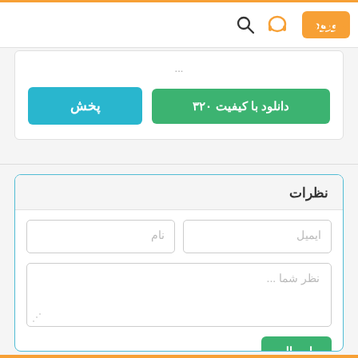ورود | headphone icon | search icon | ریتم
...
دانلود با کیفیت ۳۲۰ | پخش
نظرات
نام | ایمیل
نظر شما ...
ارسال
...